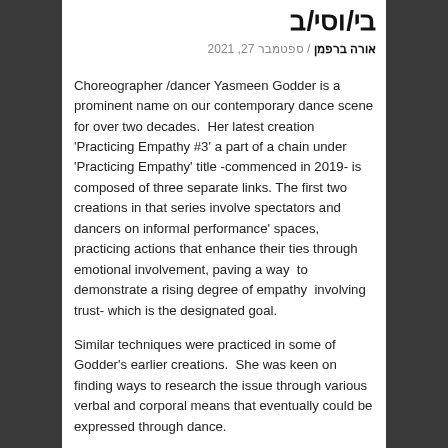בי/וסי/ב
אורה ברפמן / ספטמבר 27, 2021
Choreographer /dancer Yasmeen Godder is a prominent name on our contemporary dance scene for over two decades.  Her latest creation 'Practicing Empathy #3' a part of a chain under 'Practicing Empathy' title -commenced in 2019- is composed of three separate links. The first two creations in that series involve spectators and dancers on informal performance' spaces, practicing actions that enhance their ties through emotional involvement, paving a way  to demonstrate a rising degree of empathy  involving trust- which is the designated goal.
Similar techniques were practiced in some of Godder's earlier creations.  She was keen on finding ways to research the issue through various verbal and corporal means that eventually could be expressed through dance.